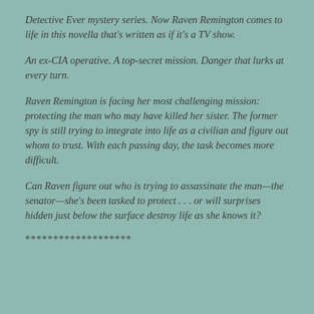Detective Ever mystery series. Now Raven Remington comes to life in this novella that's written as if it's a TV show.
An ex-CIA operative. A top-secret mission. Danger that lurks at every turn.
Raven Remington is facing her most challenging mission: protecting the man who may have killed her sister. The former spy is still trying to integrate into life as a civilian and figure out whom to trust. With each passing day, the task becomes more difficult.
Can Raven figure out who is trying to assassinate the man—the senator—she's been tasked to protect . . . or will surprises hidden just below the surface destroy life as she knows it?
*******************